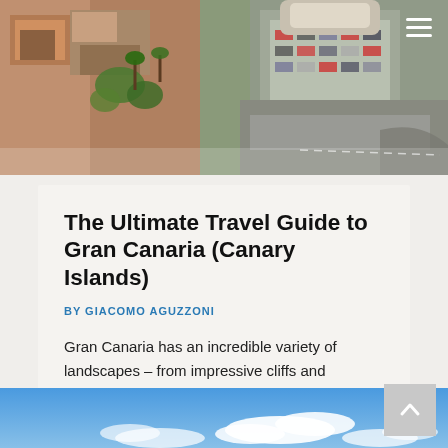[Figure (photo): Aerial view of a dense urban area with rooftops, buildings, trees, and a parking lot/intersection visible]
The Ultimate Travel Guide to Gran Canaria (Canary Islands)
BY GIACOMO AGUZZONI
Gran Canaria has an incredible variety of landscapes – from impressive cliffs and mountains to vast deserts, and from pine forests to picturesque villages.
Read more ▶
[Figure (photo): Partial view of a blue sky with white clouds over a landscape, bottom strip of the page]